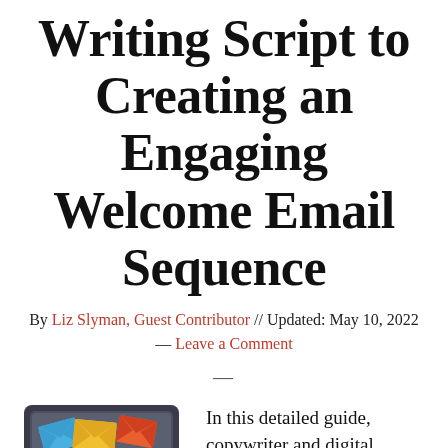Writing Script to Creating an Engaging Welcome Email Sequence
By Liz Slyman, Guest Contributor // Updated: May 10, 2022 — Leave a Comment
—
[Figure (illustration): Illustration of a tablet/laptop screen with multiple colorful envelopes (email icons) flying out — in blue, yellow, orange, red, and green colors]
In this detailed guide, copywriter and digital